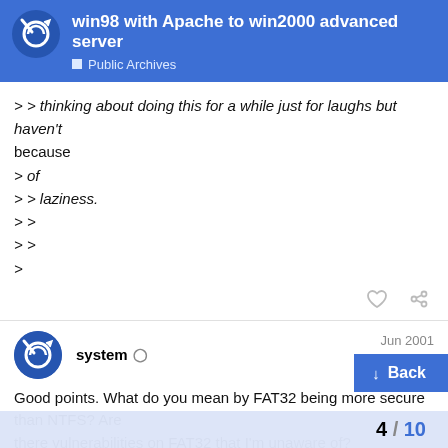win98 with Apache to win2000 advanced server | Public Archives
> > thinking about doing this for a while just for laughs but haven't
because
> of
> > laziness.
> >
> >
>
system
Jun 2001
Good points. What do you mean by FAT32 being more secure than NTFS? Are there vulnerabilities on FAT32 that I'm unaware of?
"Tony Ranieri" <woo_boy@puckoff.com> w